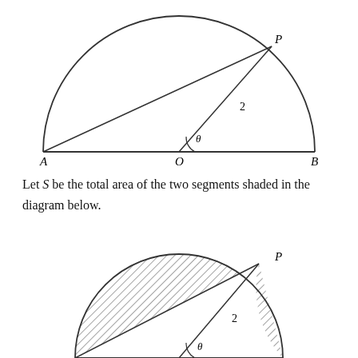[Figure (engineering-diagram): Semicircle diagram with center O, endpoints A and B on the diameter, point P on the arc. Lines drawn from A to P and from O to P, with angle theta at O and label '2' along OP. The region between the chord OP and the arc is not shaded in this diagram.]
Let S be the total area of the two segments shaded in the diagram below.
[Figure (engineering-diagram): Full circle diagram with center O, point P on the upper right of the circle. Lines from A (left) to P and from O to P, with angle theta at O and label '2' along OP. Two segments are shaded with diagonal hatching: one large segment between chord AP and the arc, and one small segment between chord OP and the arc on the right.]